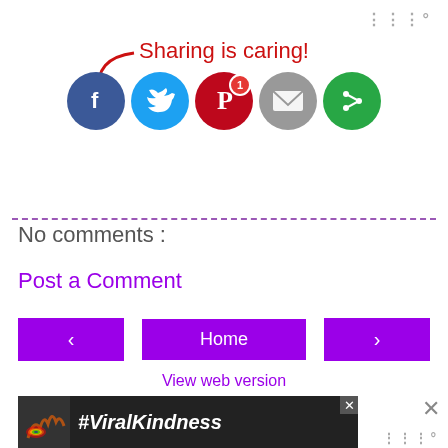[Figure (logo): Tailwind app logo marks in gray, top right]
[Figure (infographic): Sharing is caring! text with red arrow pointing to social share buttons: Facebook, Twitter, Pinterest (with badge 1), Email, and a green circular share button]
No comments :
Post a Comment
[Figure (infographic): Navigation row with purple left arrow button, purple Home button, and purple right arrow button]
View web version
[Figure (photo): Advertisement banner showing rainbow chalk drawing and #ViralKindness text in white on dark background, with close X button]